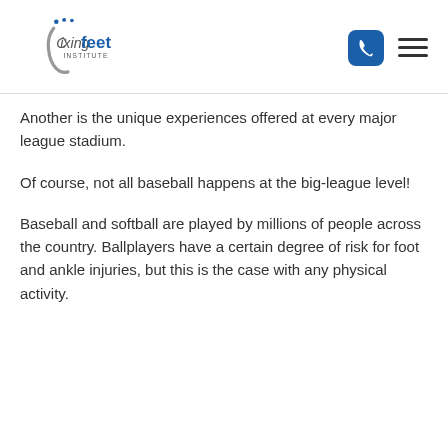Fixing Feet Institute
Another is the unique experiences offered at every major league stadium.
Of course, not all baseball happens at the big-league level!
Baseball and softball are played by millions of people across the country. Ballplayers have a certain degree of risk for foot and ankle injuries, but this is the case with any physical activity.